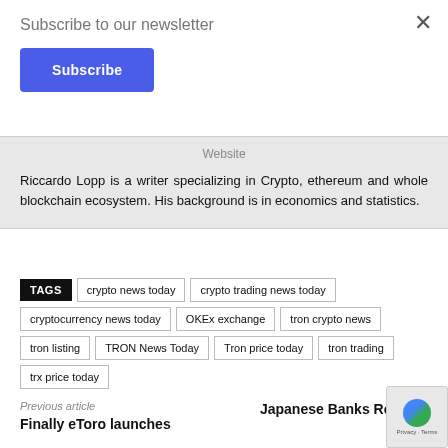Subscribe to our newsletter
Subscribe
Website
Riccardo Lopp is a writer specializing in Crypto, ethereum and whole blockchain ecosystem. His background is in economics and statistics.
TAGS  crypto news today  crypto trading news today  cryptocurrency news today  OKEx exchange  tron crypto news  tron listing  TRON News Today  Tron price today  tron trading  trx price today
Previous article
Finally eToro launches
Japanese Banks Roll Out